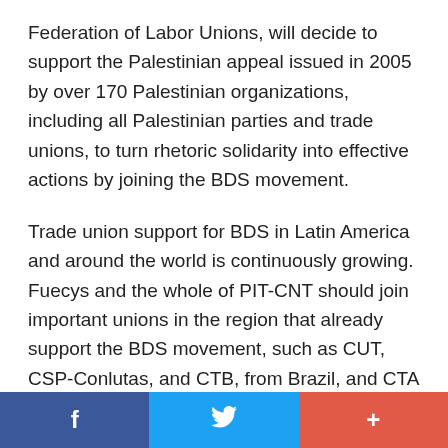Federation of Labor Unions, will decide to support the Palestinian appeal issued in 2005 by over 170 Palestinian organizations, including all Palestinian parties and trade unions, to turn rhetoric solidarity into effective actions by joining the BDS movement.
Trade union support for BDS in Latin America and around the world is continuously growing. Fuecys and the whole of PIT-CNT should join important unions in the region that already support the BDS movement, such as CUT, CSP-Conlutas, and CTB, from Brazil, and CTA and CTA Autónoma, from Argentina.
f  [Twitter bird icon]  +